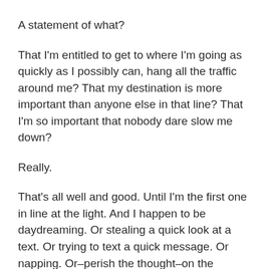A statement of what?
That I'm entitled to get to where I'm going as quickly as I possibly can, hang all the traffic around me? That my destination is more important than anyone else in that line? That I'm so important that nobody dare slow me down?
Really.
That's all well and good. Until I'm the first one in line at the light. And I happen to be daydreaming. Or stealing a quick look at a text. Or trying to text a quick message. Or napping. Or–perish the thought–on the phone.